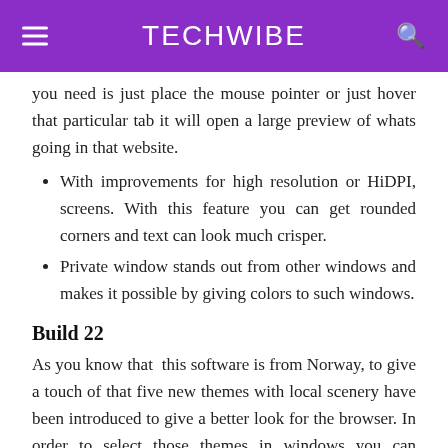TECHWIBE
you need is just place the mouse pointer or just hover that particular tab it will open a large preview of whats going in that website.
With improvements for high resolution or HiDPI, screens. With this feature you can get rounded corners and text can look much crisper.
Private window stands out from other windows and makes it possible by giving colors to such windows.
Build 22
As you know that  this software is from Norway, to give a touch of that five new themes with local scenery have been introduced to give a better look for the browser. In order to select those themes in windows you can navigate to Opera Menu → Themes